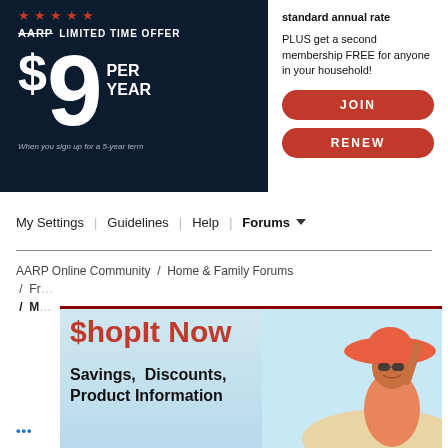[Figure (infographic): AARP membership banner with dark navy background showing stars, AARP logo, LIMITED TIME OFFER text, $9 PER YEAR price, and 'When you sign up for a 5-year term' note on the left. White right panel shows 'standard annual rate', 'PLUS get a second membership FREE for anyone in your household!', and red JOIN and RENEW buttons.]
My Settings | Guidelines | Help | Forums ▾
AARP Online Community / Home & Family Forums / Fr... / M...
[Figure (infographic): ShopIt Now advertisement banner showing red text '$hopIt Now' and black bold text 'Savings, Discounts, Product Information' with a woman in an orange hat and swimsuit on a beach in the right portion.]